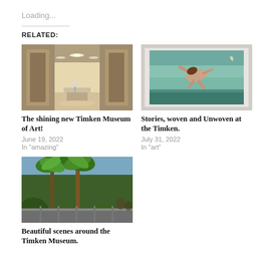Loading...
RELATED:
[Figure (photo): Interior hallway of a museum with bright lights, marble floors, and modern furniture in the background]
The shining new Timken Museum of Art!
June 19, 2022
In "amazing"
[Figure (photo): A painting showing a figure floating or diving in a blue-green dreamlike space with a crescent moon]
Stories, woven and Unwoven at the Timken.
July 31, 2022
In "art"
[Figure (photo): Outdoor scene with palm trees and lush tropical vegetation near the Timken Museum]
Beautiful scenes around the Timken Museum.